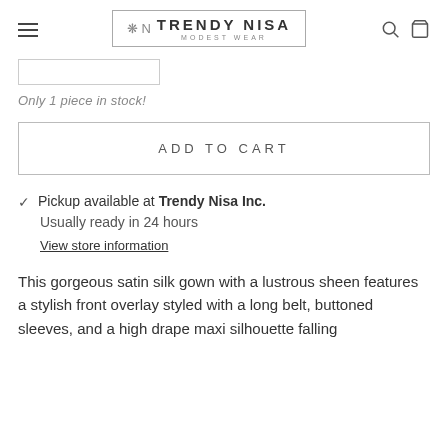TRENDY NISA MODEST WEAR
Only 1 piece in stock!
ADD TO CART
Pickup available at Trendy Nisa Inc.
Usually ready in 24 hours
View store information
This gorgeous satin silk gown with a lustrous sheen features a stylish front overlay styled with a long belt, buttoned sleeves, and a high drape maxi silhouette falling